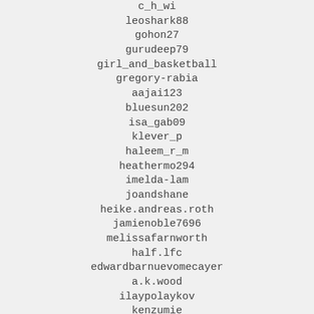c_h_wi
leoshark88
gohon27
gurudeep79
girl_and_basketball
gregory-rabia
aajai123
bluesun202
isa_gab09
klever_p
haleem_r_m
heathermo294
imelda-lam
joandshane
heike.andreas.roth
jamienoble7696
melissafarnworth
half.lfc
edwardbarnuevomecayer
a.k.wood
ilaypolaykov
kenzumie
domik84
cvobodno
lumley.peter7